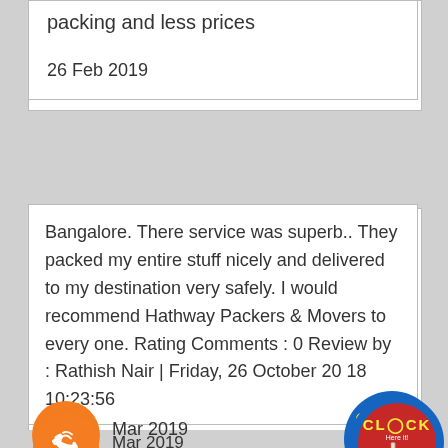packing and less prices
26 Feb 2019
Bangalore. There service was superb.. They packed my entire stuff nicely and delivered to my destination very safely. I would recommend Hathway Packers & Movers to every one. Rating Comments : 0 Review by : Rathish Nair | Friday, 26 October 20 18 10:23:56
Mar 2019
[Figure (illustration): Orange circle with phone icon]
[Figure (illustration): Blue circle with red CLICK Here!! button and hand pointer]
Chennai to Vapi Services Companies Choosing Helps
[Figure (illustration): Green circle with WhatsApp phone icon]
Congrats on from residence to the new homes, new